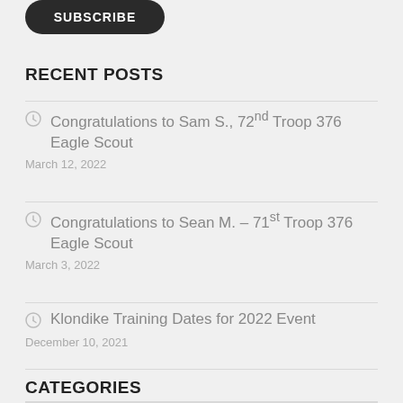[Figure (other): Dark rounded button/badge at top of sidebar]
RECENT POSTS
Congratulations to Sam S., 72nd Troop 376 Eagle Scout
March 12, 2022
Congratulations to Sean M. – 71st Troop 376 Eagle Scout
March 3, 2022
Klondike Training Dates for 2022 Event
December 10, 2021
CATEGORIES